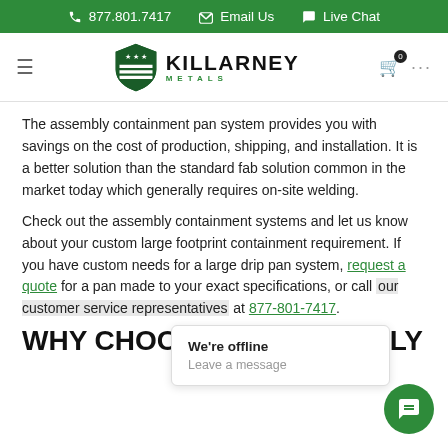877.801.7417  Email Us  Live Chat
[Figure (logo): Killarney Metals logo with shield icon, brand name KILLARNEY and subtitle METALS]
The assembly containment pan system provides you with savings on the cost of production, shipping, and installation. It is a better solution than the standard fab solution common in the market today which generally requires on-site welding.
Check out the assembly containment systems and let us know about your custom large footprint containment requirement. If you have custom needs for a large drip pan system, request a quote for a pan made to your exact specifications, or call our customer service representatives at 877-801-7417.
[Figure (screenshot): Live chat offline widget popup: We're offline / Leave a message, with green chat bubble button in lower right corner]
WHY CHOOSE AN ASSEMBLY PAN SYSTEM?